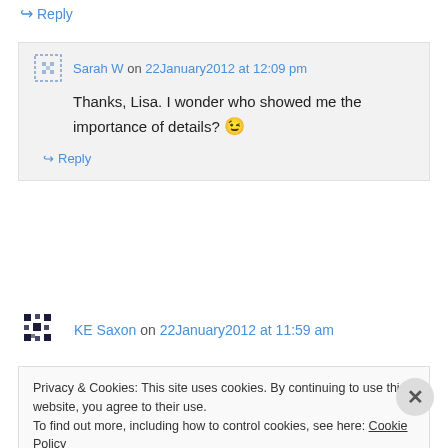↪ Reply
Sarah W on 22January2012 at 12:09 pm
Thanks, Lisa. I wonder who showed me the importance of details? 😉
↪ Reply
KE Saxon on 22January2012 at 11:59 am
Privacy & Cookies: This site uses cookies. By continuing to use this website, you agree to their use.
To find out more, including how to control cookies, see here: Cookie Policy
Close and accept